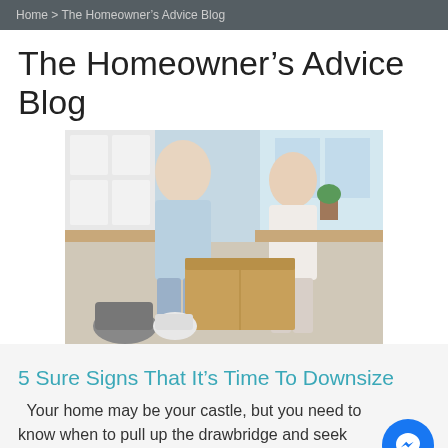Home > The Homeowner’s Advice Blog
The Homeowner’s Advice Blog
[Figure (photo): Middle-aged couple smiling and packing kitchen items into cardboard moving boxes in a bright kitchen]
5 Sure Signs That It’s Time To Downsize
Your home may be your castle, but you need to know when to pull up the drawbridge and seek new surroundings.